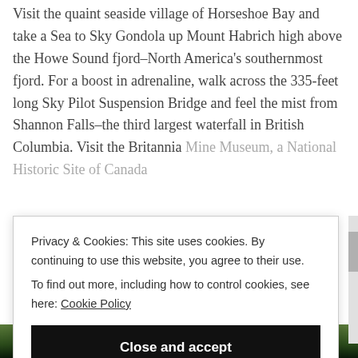Visit the quaint seaside village of Horseshoe Bay and take a Sea to Sky Gondola up Mount Habrich high above the Howe Sound fjord–North America's southernmost fjord. For a boost in adrenaline, walk across the 335-feet long Sky Pilot Suspension Bridge and feel the mist from Shannon Falls–the third largest waterfall in British Columbia. Visit the Britannia Mine Museum, a National Historic Site of Canada
Privacy & Cookies: This site uses cookies. By continuing to use this website, you agree to their use. To find out more, including how to control cookies, see here: Cookie Policy
Close and accept
[Figure (photo): Partial view of a nature/forest photo strip at the bottom of the page]